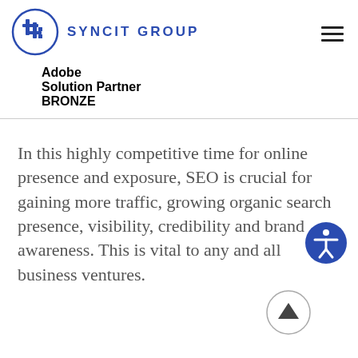SYNCIT GROUP
[Figure (logo): Syncit Group logo: blue circle with a hash/grid icon inside, and 'SYNCIT GROUP' text in blue uppercase letters beside it]
Adobe Solution Partner
BRONZE
In this highly competitive time for online presence and exposure, SEO is crucial for gaining more traffic, growing organic search presence, visibility, credibility and brand awareness. This is vital to any and all business ventures.